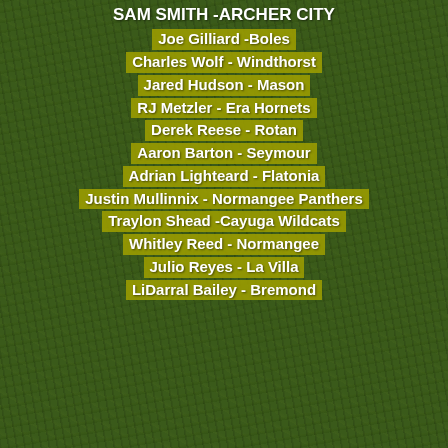SAM SMITH -ARCHER CITY
Joe Gilliard -Boles
Charles Wolf  - Windthorst
Jared Hudson - Mason
RJ Metzler - Era Hornets
Derek Reese - Rotan
Aaron Barton - Seymour
Adrian Lighteard - Flatonia
Justin Mullinnix - Normangee Panthers
Traylon Shead -Cayuga Wildcats
Whitley Reed - Normangee
Julio Reyes - La Villa
LiDarral Bailey - Bremond